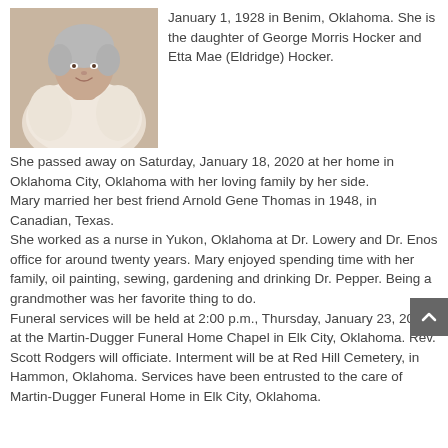[Figure (photo): Portrait photo of an elderly woman wearing a light cream/white fur or fluffy coat, with short gray hair, smiling gently at the camera.]
January 1, 1928 in Benim, Oklahoma. She is the daughter of George Morris Hocker and Etta Mae (Eldridge) Hocker. She passed away on Saturday, January 18, 2020 at her home in Oklahoma City, Oklahoma with her loving family by her side.
Mary married her best friend Arnold Gene Thomas in 1948, in Canadian, Texas.
She worked as a nurse in Yukon, Oklahoma at Dr. Lowery and Dr. Enos office for around twenty years. Mary enjoyed spending time with her family, oil painting, sewing, gardening and drinking Dr. Pepper. Being a grandmother was her favorite thing to do.
Funeral services will be held at 2:00 p.m., Thursday, January 23, 2020 at the Martin-Dugger Funeral Home Chapel in Elk City, Oklahoma. Rev. Scott Rodgers will officiate. Interment will be at Red Hill Cemetery, in Hammon, Oklahoma. Services have been entrusted to the care of Martin-Dugger Funeral Home in Elk City, Oklahoma.